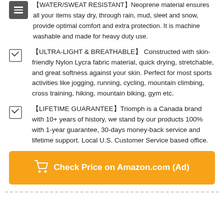【WATER/SWEAT RESISTANT】Neoprene material ensures all your items stay dry, through rain, mud, sleet and snow, provide optimal comfort and extra protection. It is machine washable and made for heavy duty use.
【ULTRA-LIGHT & BREATHABLE】Constructed with skin-friendly Nylon Lycra fabric material, quick drying, stretchable, and great softness against your skin. Perfect for most sports activities like jogging, running, cycling, mountain climbing, cross training, hiking, mountain biking, gym etc.
【LIFETIME GUARANTEE】Triomph is a Canada brand with 10+ years of history, we stand by our products 100% with 1-year guarantee, 30-days money-back service and lifetime support. Local U.S. Customer Service based office.
Check Price on Amazon.com (Ad)